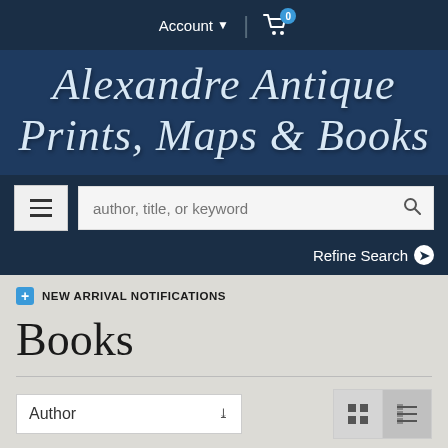Account ▼ | 🛒 0
Alexandre Antique Prints, Maps & Books
author, title, or keyword [search]
Refine Search ❯
NEW ARRIVAL NOTIFICATIONS
Books
Author ↓ [sort dropdown]
Results 401 - 425 (of 1921), Books ✕